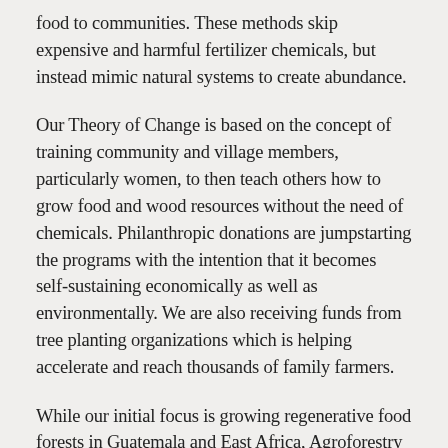food to communities. These methods skip expensive and harmful fertilizer chemicals, but instead mimic natural systems to create abundance.
Our Theory of Change is based on the concept of training community and village members, particularly women, to then teach others how to grow food and wood resources without the need of chemicals. Philanthropic donations are jumpstarting the programs with the intention that it becomes self-sustaining economically as well as environmentally. We are also receiving funds from tree planting organizations which is helping accelerate and reach thousands of family farmers.
While our initial focus is growing regenerative food forests in Guatemala and East Africa, Agroforestry is growing in popularity around the world. ARC's strategy is to focus on supporting a few small countries where impact can be very powerful, and